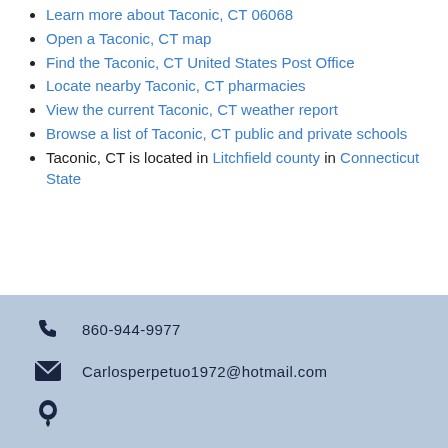Learn more about Taconic, CT 06068
Open a Taconic, CT map
Find the Taconic, CT United States Post Office
Locate nearby Taconic, CT pharmacies
View the current Taconic, CT weather report
Browse a list of Taconic, CT public and private schools
Taconic, CT is located in Litchfield county in Connecticut State
860-944-9977
Carlosperpetuo1972@hotmail.com